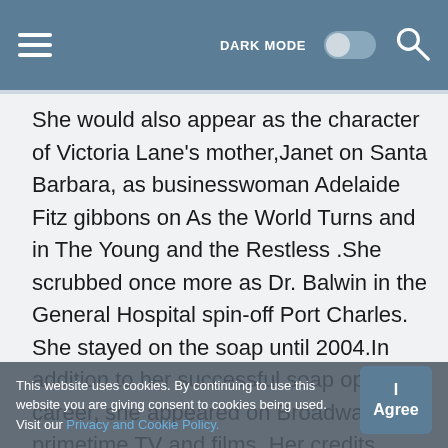DARK MODE  [toggle]  [search]
She would also appear as the character of Victoria Lane's mother,Janet on Santa Barbara, as businesswoman Adelaide Fitz gibbons on As the World Turns and in The Young and the Restless .She scrubbed once more as Dr. Balwin in the General Hospital spin-off Port Charles. She stayed on the soap until 2004.In addition to her successful soap opera career, she appeared on Broadway, primetime TV and films. Her credits include Death Valley Days, Kojak, Marcus Welby, M.D., Barney Miller, Hotel,Beverly Hills 90210, and Frasier. She also played first First Lady Pat Nixon in the TV movie The Final Days as well as Nancy Reagan in Without Warning: the James Brady Story.
This website uses cookies. By continuing to use this website you are giving consent to cookies being used. Visit our Privacy and Cookie Policy.